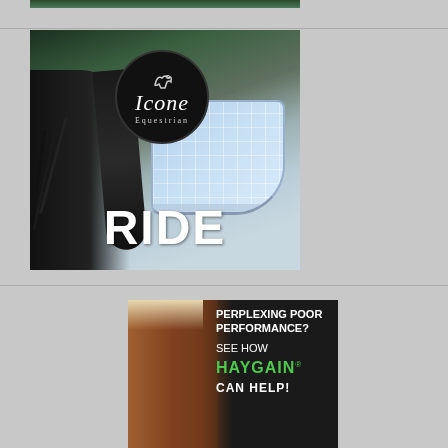[Figure (photo): Icone Equestrian ad showing a close-up of a horse with a light blue quilted saddle pad, dark saddle and stirrups, with the Icone Equestrian circular logo and the word RIDE in bold white text at the bottom]
[Figure (photo): Haygain advertisement showing a horse leg on the left side with dark background and green/white text reading PERPLEXING POOR PERFORMANCE? SEE HOW HAYGAIN CAN HELP!]